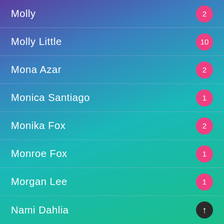Molly
Molly Little
Mona Azar
Monica Santiago
Monika Fox
Monroe Fox
Morgan Lee
Nami Dahlia